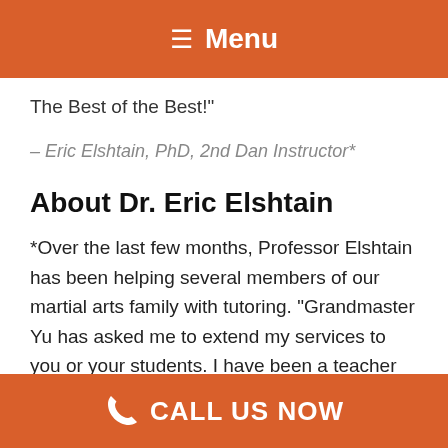≡ Menu
The Best of the Best!"
– Eric Elshtain, PhD, 2nd Dan Instructor*
About Dr. Eric Elshtain
*Over the last few months, Professor Elshtain has been helping several members of our martial arts family with tutoring. "Grandmaster Yu has asked me to extend my services to you or your students. I have been a teacher and tutor for 30+ years, and have experience with ages from kindergarten to college classes (including at the University of Chicago, where I received my PhD in
CALL US NOW